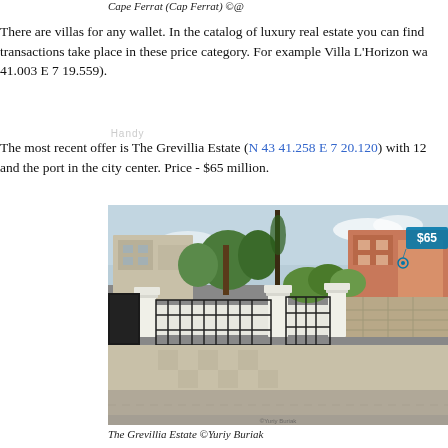Cape Ferrat (Cap Ferrat) ©@
There are villas for any wallet. In the catalog of luxury real estate you can find transactions take place in these price category. For example Villa L'Horizon wa 41.003 E 7 19.559).
The most recent offer is The Grevillia Estate (N 43 41.258 E 7 20.120) with 12 and the port in the city center. Price - $65 million.
[Figure (photo): Exterior photo of The Grevillia Estate showing a gated entrance with white stone pillars, ornamental iron gates, a white boundary wall, and buildings behind greenery. A price badge showing $65 is visible in the upper right corner.]
The Grevillia Estate ©Yuriy Buriak